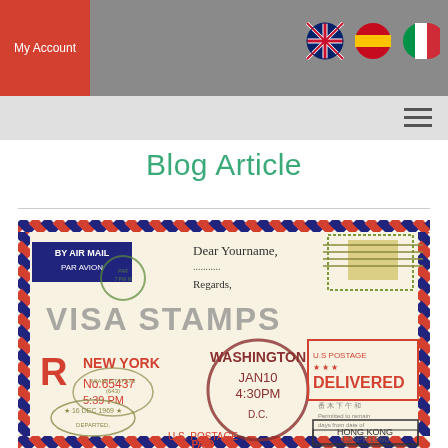My Account
Blog Article
[Figure (illustration): Airmail envelope illustration with visa stamps, text reading 'BY AIR MAIL PAR AVION', 'Dear Yourname,', 'Regards,', 'VISA STAMPS', 'NEW YORK', 'No.65437', '5:39 PM', '16 DEC 1969', 'R', 'WASHINGTON', 'JAN10', '4:30PM', 'U.S. POSTAGE PAID', 'U.S POSTAGE DELIVERED', 'HONG KONG', '13APR1960'. Envelope has red and blue diagonal striped borders.]